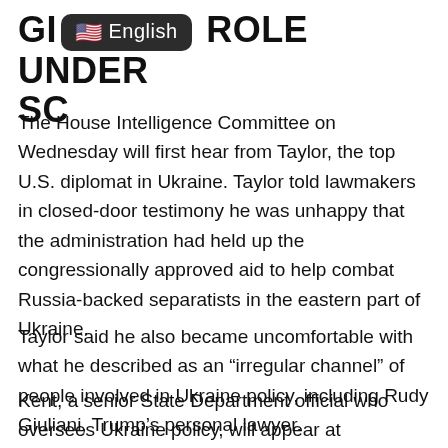GIULIANI'S ROLE UNDER SCRUTINY
The House Intelligence Committee on Wednesday will first hear from Taylor, the top U.S. diplomat in Ukraine. Taylor told lawmakers in closed-door testimony he was unhappy that the administration had held up the congressionally approved aid to help combat Russia-backed separatists in the eastern part of Ukraine.
Taylor said he also became uncomfortable with what he described as an “irregular channel” of people involved in Ukraine policy, including Rudy Giuliani, Trump’s personal lawyer.
Kent, a senior State Department official who oversees Ukraine policy, will appear at Wednesday’s hearing as well. Kent was also concerned about Giuliani’s role in